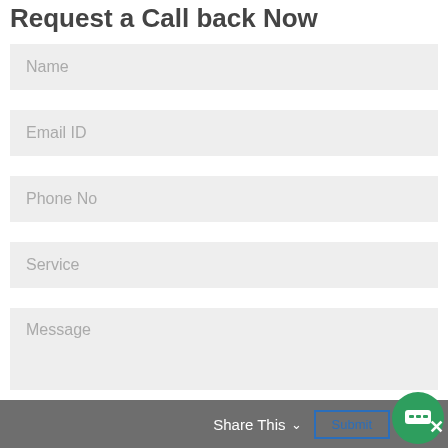Request a Call back Now
Name
Email ID
Phone No
Service
Message
Share This  Submit